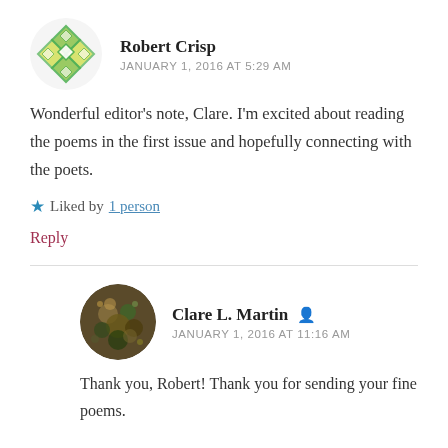[Figure (illustration): Green geometric/diamond pattern avatar for Robert Crisp]
Robert Crisp
JANUARY 1, 2016 AT 5:29 AM
Wonderful editor's note, Clare. I'm excited about reading the poems in the first issue and hopefully connecting with the poets.
★ Liked by 1 person
Reply
[Figure (photo): Photo avatar of Clare L. Martin — artistic or nature-themed portrait]
Clare L. Martin
JANUARY 1, 2016 AT 11:16 AM
Thank you, Robert! Thank you for sending your fine poems.